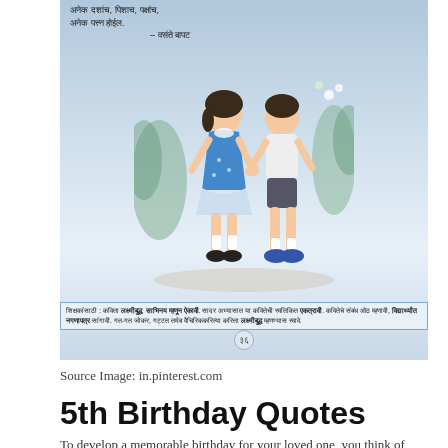[Figure (illustration): A scanned page from a Marathi textbook showing two children walking together (a girl in a blue dress and a boy) with blue floral background. The page includes Devanagari text at the top and a caption box at the bottom with page number 36.]
Source Image: in.pinterest.com
5th Birthday Quotes
To develop a memorable birthday for your loved one, you think of something enjoyable and adorable to ask as well as share with them on their birthday. It is not simply the present that makes the difference but likewise the assumed behind it. The technique is to find